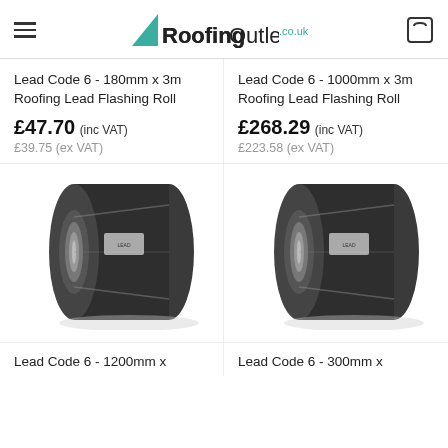RoofingOutlet.co.uk
Lead Code 6 - 180mm x 3m Roofing Lead Flashing Roll
£47.70 (inc VAT)
£39.75 (ex VAT)
Lead Code 6 - 1000mm x 3m Roofing Lead Flashing Roll
£268.29 (inc VAT)
£223.58 (ex VAT)
[Figure (photo): Roll of lead flashing - Lead Code 6 1200mm product]
[Figure (photo): Roll of lead flashing - Lead Code 6 300mm product]
Lead Code 6 - 1200mm x
Lead Code 6 - 300mm x